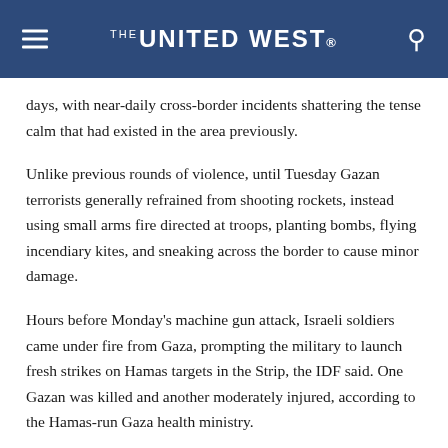THE UNITED WEST
days, with near-daily cross-border incidents shattering the tense calm that had existed in the area previously.
Unlike previous rounds of violence, until Tuesday Gazan terrorists generally refrained from shooting rockets, instead using small arms fire directed at troops, planting bombs, flying incendiary kites, and sneaking across the border to cause minor damage.
Hours before Monday's machine gun attack, Israeli soldiers came under fire from Gaza, prompting the military to launch fresh strikes on Hamas targets in the Strip, the IDF said. One Gazan was killed and another moderately injured, according to the Hamas-run Gaza health ministry.
The Israeli troops were arresting two Palestinians who